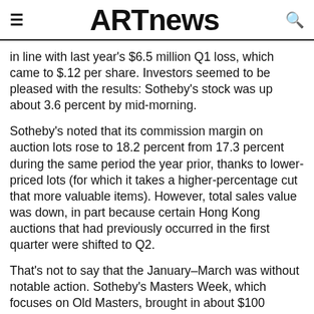ARTnews
in line with last year's $6.5 million Q1 loss, which came to $.12 per share. Investors seemed to be pleased with the results: Sotheby's stock was up about 3.6 percent by mid-morning.
Sotheby's noted that its commission margin on auction lots rose to 18.2 percent from 17.3 percent during the same period the year prior, thanks to lower-priced lots (for which it takes a higher-percentage cut that more valuable items). However, total sales value was down, in part because certain Hong Kong auctions that had previously occurred in the first quarter were shifted to Q2.
That's not to say that the January–March was without notable action. Sotheby's Masters Week, which focuses on Old Masters, brought in about $100